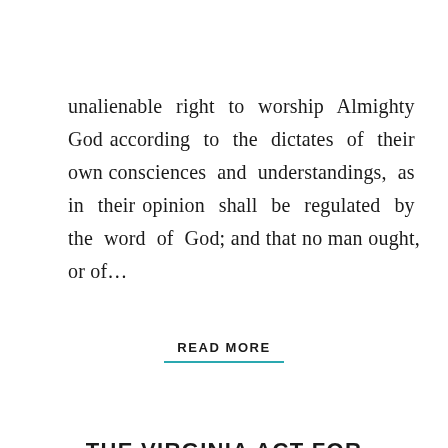unalienable right to worship Almighty God according to the dictates of their own consciences and understandings, as in their opinion shall be regulated by the word of God; and that no man ought, or of…
READ MORE
THE VIRGINIA ACT FOR ESTABLISHING RELIGIOUS FREEDOM